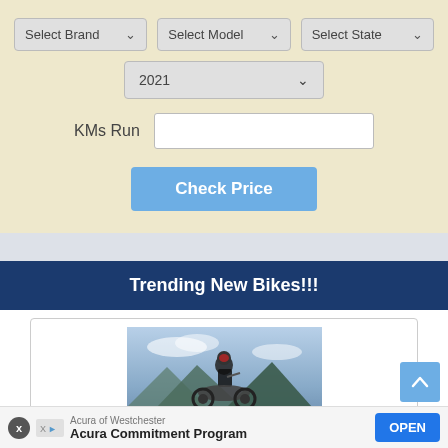[Figure (screenshot): Web application UI with dropdown selectors for Select Brand, Select Model, Select State, year 2021 dropdown, KMs Run input field, and Check Price button on a beige background]
Trending New Bikes!!!
[Figure (photo): Motorcyclist on a bike against a mountainous sky background]
Acura of Westchester – Acura Commitment Program – OPEN